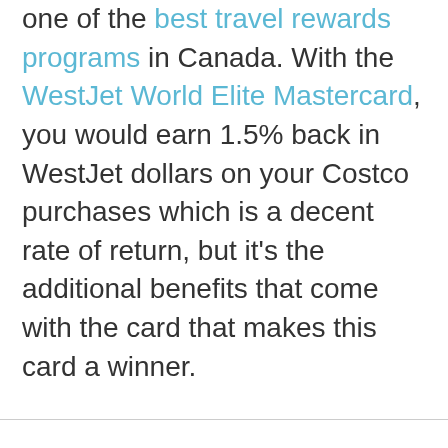one of the best travel rewards programs in Canada. With the WestJet World Elite Mastercard, you would earn 1.5% back in WestJet dollars on your Costco purchases which is a decent rate of return, but it's the additional benefits that come with the card that makes this card a winner.